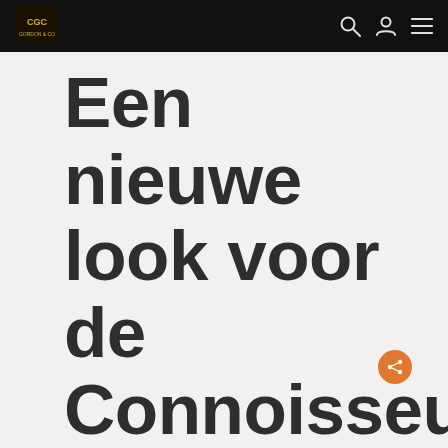Navigation bar with logo and icons
Een nieuwe look voor de Connoisseurs Choice van Gordon &